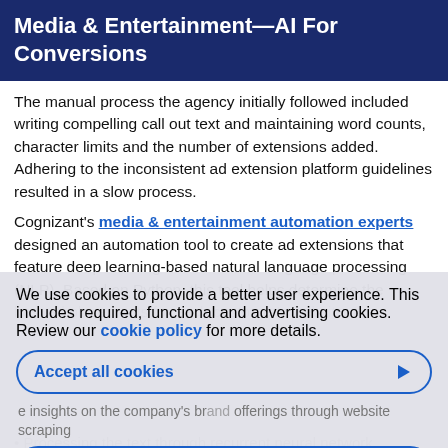Media & Entertainment—AI For Conversions
The manual process the agency initially followed included writing compelling call out text and maintaining word counts, character limits and the number of extensions added. Adhering to the inconsistent ad extension platform guidelines resulted in a slow process.
Cognizant's media & entertainment automation experts designed an automation tool to create ad extensions that feature deep learning-based natural language processing (NLP). Based on Python, this tool helps determine the best ad placements for each customer's website. It...
We use cookies to provide a better user experience. This includes required, functional and advertising cookies. Review our cookie policy for more details.
Accept all cookies — insights on the company's brand offerings through website scraping
Customized settings — Clustering and converting relevant text into ad extensions
Processing the text through recurrent neural network...